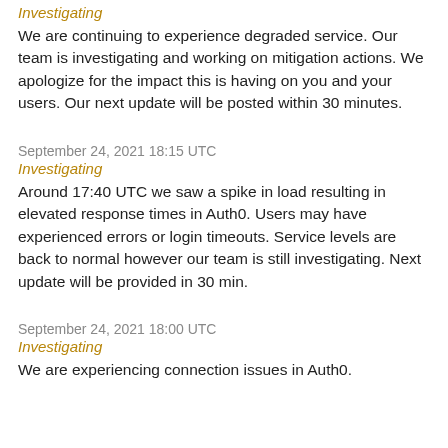Investigating
We are continuing to experience degraded service. Our team is investigating and working on mitigation actions. We apologize for the impact this is having on you and your users. Our next update will be posted within 30 minutes.
September 24, 2021 18:15 UTC
Investigating
Around 17:40 UTC we saw a spike in load resulting in elevated response times in Auth0. Users may have experienced errors or login timeouts. Service levels are back to normal however our team is still investigating. Next update will be provided in 30 min.
September 24, 2021 18:00 UTC
Investigating
We are experiencing connection issues in Auth0.